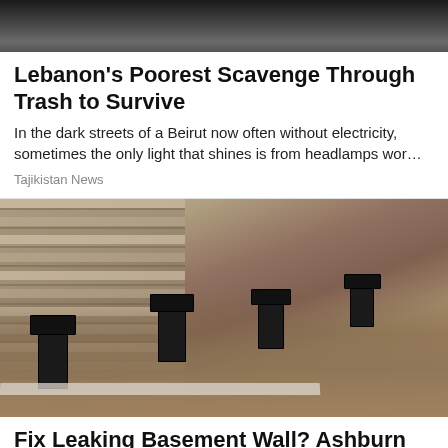[Figure (photo): Top portion of a news article photo, partially cropped — dark background with indistinct figures]
Lebanon's Poorest Scavenge Through Trash to Survive
In the dark streets of a Beirut now often without electricity, sometimes the only light that shines is from headlamps wor…
Tajikistan News
[Figure (photo): Construction/engineering photo showing a brick retaining wall with helical pier anchors installed along the base, with excavated dirt trench in foreground]
Fix Leaking Basement Wall? Ashburn Residents